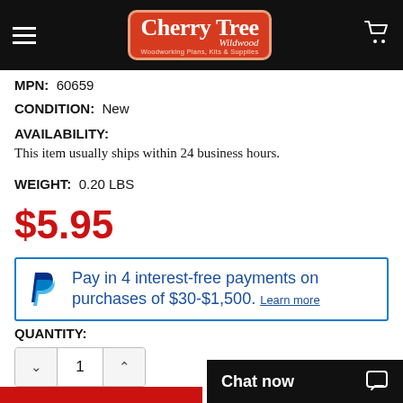[Figure (logo): CherryTree Wildwood logo on black header bar with hamburger menu and cart icon]
MPN: 60659
CONDITION: New
AVAILABILITY:
This item usually ships within 24 business hours.
WEIGHT: 0.20 LBS
$5.95
Pay in 4 interest-free payments on purchases of $30-$1,500. Learn more
QUANTITY:
Chat now